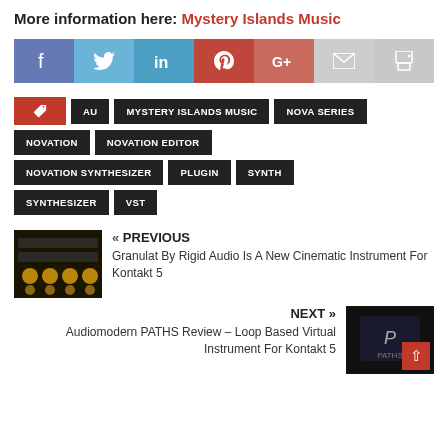More information here: Mystery Islands Music
[Figure (infographic): Social sharing buttons: Facebook (blue-purple), Twitter (light blue), LinkedIn (teal-blue), Pinterest (red), Google+ (salmon-red), Email (gray), Print (gray)]
AU
MYSTERY ISLANDS MUSIC
NOVA SERIES
NOVATION
NOVATION EDITOR
NOVATION SYNTHESIZER
PLUGIN
SYNTH
SYNTHESIZER
VST
« PREVIOUS
Granulat By Rigid Audio Is A New Cinematic Instrument For Kontakt 5
NEXT »
Audiomodern PATHS Review – Loop Based Virtual Instrument For Kontakt 5